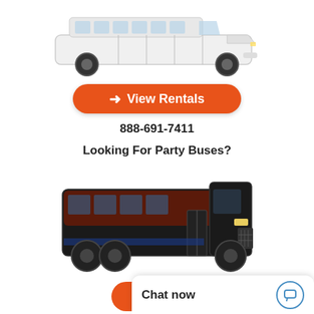[Figure (photo): White stretch limousine (Chrysler 300) on white background, viewed from the side]
→ View Rentals
888-691-7411
Looking For Party Buses?
[Figure (photo): Black party bus (Ford F-series chassis) on white background, viewed from the front-left side]
→
Chat now